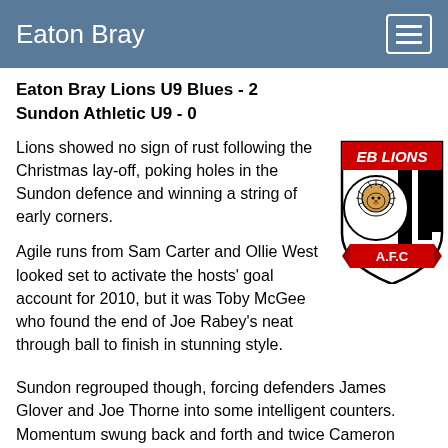Eaton Bray
Eaton Bray Lions U9 Blues - 2
Sundon Athletic U9 - 0
Lions showed no sign of rust following the Christmas lay-off, poking holes in the Sundon defence and winning a string of early corners.
[Figure (logo): EB Lions AFC club crest/shield logo with red banner reading 'EB LIONS' at top, black and white vertical stripes, lion head in circle, and red banner reading 'A.F.C' at bottom]
Agile runs from Sam Carter and Ollie West looked set to activate the hosts' goal account for 2010, but it was Toby McGee who found the end of Joe Rabey's neat through ball to finish in stunning style.
Sundon regrouped though, forcing defenders James Glover and Joe Thorne into some intelligent counters. Momentum swung back and forth and twice Cameron Burchill was called on to make some deft saves.
Excellent running and vital tackles came in the second half from Sam Bramston, as once again Sundon battled to draw level, but in a replica of their first half link up, another Joe Rabey pass found